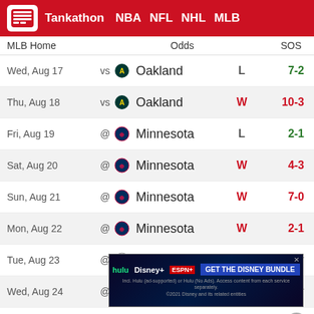Tankathon | NBA | NFL | NHL | MLB
| MLB Home | Odds | SOS |
| --- | --- | --- |
| Wed, Aug 17 | vs | Oakland | L | 7-2 |
| Thu, Aug 18 | vs | Oakland | W | 10-3 |
| Fri, Aug 19 | @ | Minnesota | L | 2-1 |
| Sat, Aug 20 | @ | Minnesota | W | 4-3 |
| Sun, Aug 21 | @ | Minnesota | W | 7-0 |
| Mon, Aug 22 | @ | Minnesota | W | 2-1 |
| Tue, Aug 23 | @ | Colorado |  | 8:40 PM ET |
| Wed, Aug 24 | @ | Colorado |  | 3:10 PM ET |
| Fri, Aug 26 | vs | Detroit |  | 8:05 PM ET |
| Sat, Aug 27 | vs | Detroit |  | 7:05 PM ET |
[Figure (screenshot): Disney Bundle advertisement banner with Hulu, Disney+, ESPN+ logos and 'GET THE DISNEY BUNDLE' call to action]